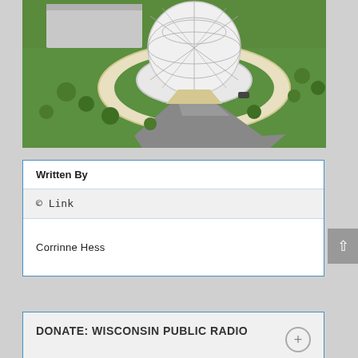[Figure (illustration): Architectural rendering of a dome-shaped building with a geodesic sphere structure, surrounded by green lawn, trees, and a circular driveway with a curved road leading to it. Arial/isometric perspective view.]
| Written By |
| --- |
| © Link |
| Corrinne Hess |
DONATE: WISCONSIN PUBLIC RADIO